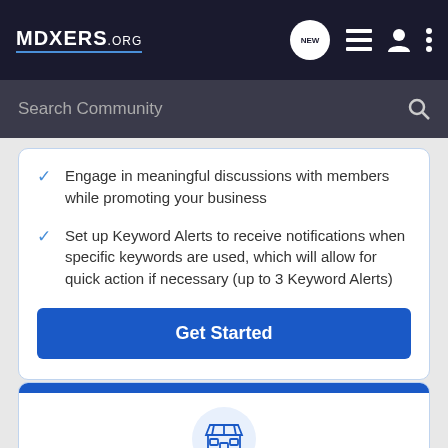MDXERS.ORG — navigation bar with NEW chat bubble, list icon, user icon, menu icon
Search Community
Engage in meaningful discussions with members while promoting your business
Set up Keyword Alerts to receive notifications when specific keywords are used, which will allow for quick action if necessary (up to 3 Keyword Alerts)
Get Started
[Figure (illustration): Shop/storefront icon in a light blue circle, below a blue stripe header on a white card]